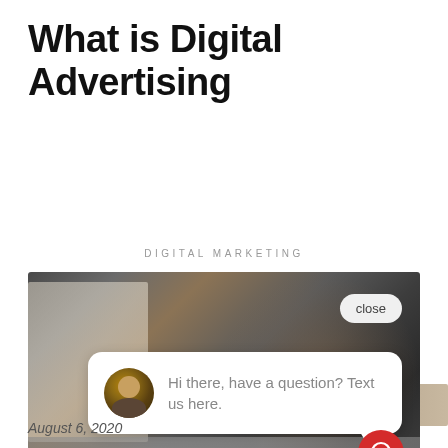What is Digital Advertising
[Figure (photo): Blurred banner strip photo showing warm tones, partial background image]
DIGITAL MARKETING
[Figure (screenshot): Photo of a person using a laptop with a chat widget overlay showing a close button and a chat bubble that reads 'Hi there, have a question? Text us here.' with an avatar and a red chat button in the bottom right corner]
August 6, 2020